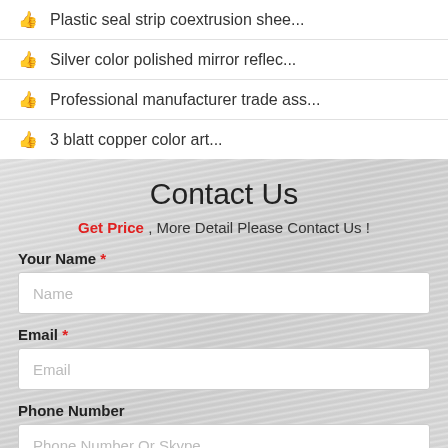Plastic seal strip coextrusion shee...
Silver color polished mirror reflec...
Professional manufacturer trade ass...
3 blatt copper color art...
Contact Us
Get Price , More Detail Please Contact Us !
Your Name *
Name
Email *
Email
Phone Number
Phone Number Or Skype